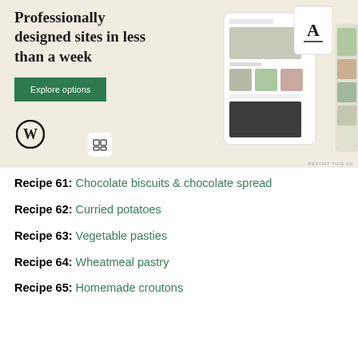[Figure (illustration): WordPress advertisement banner: 'Professionally designed sites in less than a week' with green 'Explore options' button, WordPress logo, Bluehost icon, and screenshots of website designs on a beige background. 'REPORT THIS AD' text in bottom right.]
Recipe 61: Chocolate biscuits & chocolate spread
Recipe 62: Curried potatoes
Recipe 63: Vegetable pasties
Recipe 64: Wheatmeal pastry
Recipe 65: Homemade croutons